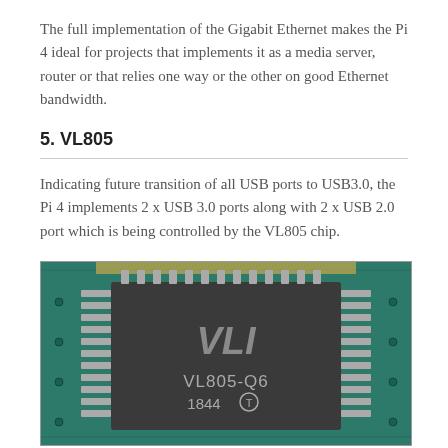The full implementation of the Gigabit Ethernet makes the Pi 4 ideal for projects that implements it as a media server, router or that relies one way or the other on good Ethernet bandwidth.
5. VL805
Indicating future transition of all USB ports to USB3.0, the Pi 4 implements 2 x USB 3.0 ports along with 2 x USB 2.0 port which is being controlled by the VL805 chip.
[Figure (photo): Close-up photo of the VLI VL805-Q6 USB chip on a green PCB circuit board. The chip is labeled 'VLI', 'VL805-Q6', '1844' with a circled T symbol, mounted with visible solder pins around the perimeter.]